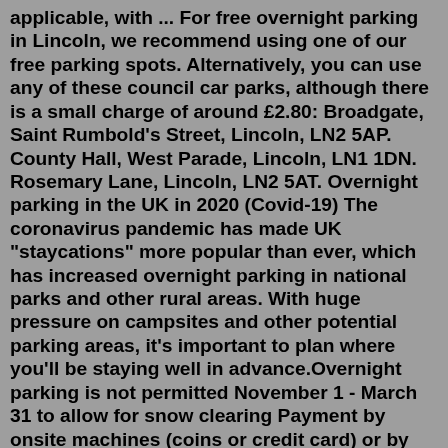applicable, with ... For free overnight parking in Lincoln, we recommend using one of our free parking spots. Alternatively, you can use any of these council car parks, although there is a small charge of around £2.80: Broadgate, Saint Rumbold's Street, Lincoln, LN2 5AP. County Hall, West Parade, Lincoln, LN1 1DN. Rosemary Lane, Lincoln, LN2 5AT. Overnight parking in the UK in 2020 (Covid-19) The coronavirus pandemic has made UK "staycations" more popular than ever, which has increased overnight parking in national parks and other rural areas. With huge pressure on campsites and other potential parking areas, it's important to plan where you'll be staying well in advance.Overnight parking is not permitted November 1 - March 31 to allow for snow clearing Payment by onsite machines (coins or credit card) or by the PayByPhone App (1.866.234.7275) Maximum stay of 24 hours Day Lots 1 - 5 GPS Directions The main entrance to Day Lots 1 - 5 is beside the Audain Art Museum on Blackcomb